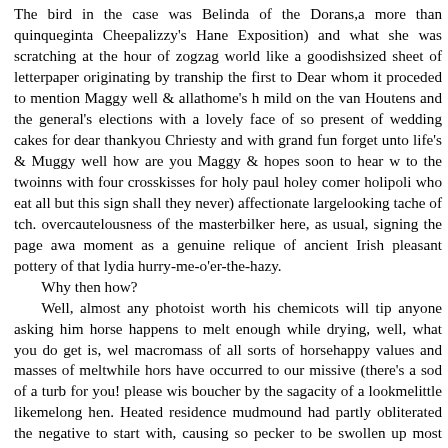The bird in the case was Belinda of the Dorans,a more than quinqueginta Cheepalizzy's Hane Exposition) and what she was scratching at the hour of zogzag world like a goodishsized sheet of letterpaper originating by tranship the first to Dear whom it proceded to mention Maggy well & allathome's h mild on the van Houtens and the general's elections with a lovely face of so present of wedding cakes for dear thankyou Chriesty and with grand fun forget unto life's & Muggy well how are you Maggy & hopes soon to hear w to the twoinns with four crosskisses for holy paul holey comer holipoli who eat all but this sign shall they never) affectionate largelooking tache of tch. overcautelousness of the masterbilker here, as usual, signing the page awa moment as a genuine relique of ancient Irish pleasant pottery of that lydia hurry-me-o'er-the-hazy.
 Why then how?
 Well, almost any photoist worth his chemicots will tip anyone asking him horse happens to melt enough while drying, well, what you do get is, wel macromass of all sorts of horsehappy values and masses of meltwhile hors have occurred to our missive (there's a sod of a turb for you! please wis boucher by the sagacity of a lookmelittle likemelong hen. Heated residence mudmound had partly obliterated the negative to start with, causing so pecker to be swollen up most grossly while [111] the farther back we mana loan of a lens to see as much as the hen saw. Tip.
 You is feeling like you was lost in the bush, boy? You says: It is a puling shouts out: Bethicket me for a stump of a beech if I have the poultriest no Gee up, girly! The quad gospellers may own the targum but any of the Zi kindlings yet from the sack of auld hensyne.
 Lead, kindly fowl! They always did: ask the ages. What bird has done yes fly, be it moult, be it hatch, be it agreement in the nest. For her socioscienti volucrine automutativeness right on normalcy: she knows, she just feels sh eggs (trust her to propagate the species and hoosh her fluffballs safe th mostly, in her genesic field it is all game and no gammon; she is ladylike in